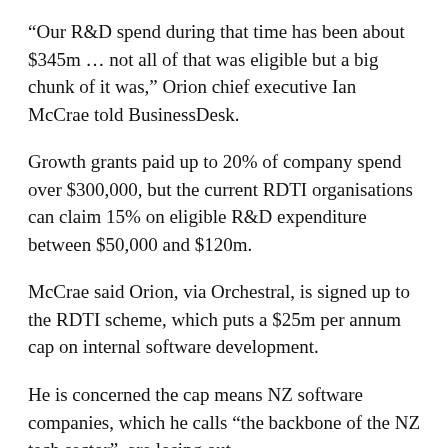“Our R&D spend during that time has been about $345m … not all of that was eligible but a big chunk of it was,” Orion chief executive Ian McCrae told BusinessDesk.
Growth grants paid up to 20% of company spend over $300,000, but the current RDTI organisations can claim 15% on eligible R&D expenditure between $50,000 and $120m.
McCrae said Orion, via Orchestral, is signed up to the RDTI scheme, which puts a $25m per annum cap on internal software development.
He is concerned the cap means NZ software companies, which he calls “the backbone of the NZ tech sector”, are losing out.
“Where you’re going to get the best return on R&D